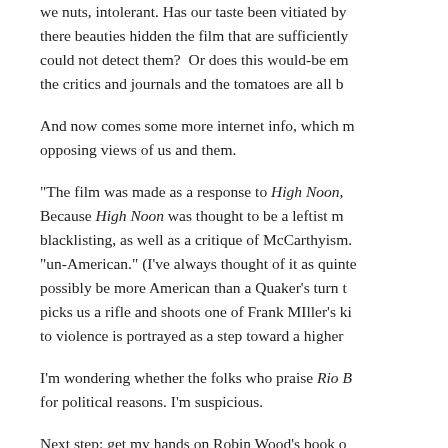we nuts, intolerant. Has our taste been vitiated by there beauties hidden the film that are sufficiently could not detect them?  Or does this would-be em the critics and journals and the tomatoes are all b
And now comes some more internet info, which m opposing views of us and them.
"The film was made as a response to High Noon, Because High Noon was thought to be a leftist m blacklisting, as well as a critique of McCarthyism. "un-American." (I've always thought of it as quinte possibly be more American than a Quaker's turn t picks us a rifle and shoots one of Frank MIller's ki to violence is portrayed as a step toward a higher
I'm wondering whether the folks who praise Rio B for political reasons. I'm suspicious.
Next step: get my hands on Robin Wood's book o Metablogians.
November 25, 2021 in Film | Permalink | Comments (0)
November 22, 2021